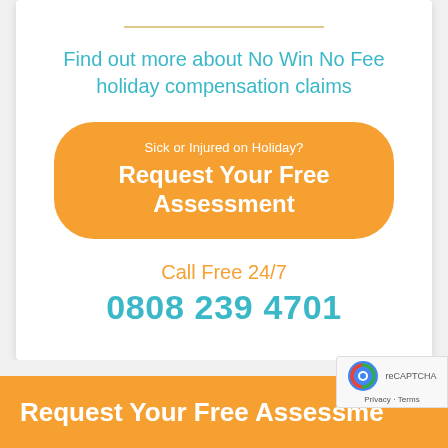Find out more about No Win No Fee holiday compensation claims
[Figure (other): Orange rounded button with text 'Sick or Injured on Holiday?' above 'Request Your Free Assessment']
Call Free 24/7
0808 239 4701
Request Your Free Assessment